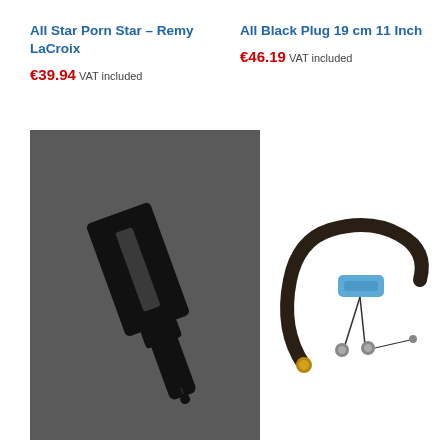All Star Porn Star – Remy LaCroix
€39.94 VAT included
All Black Plug 19 cm 11 Inch
€46.19 VAT included
[Figure (photo): Black paddle/slapper toy on dark grey background]
[Figure (photo): All Black plug 19cm with blue wrist strap and connectors on white background]